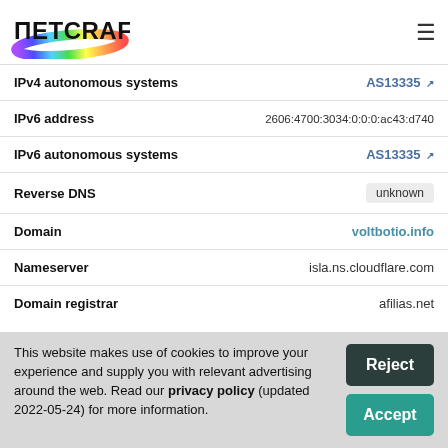Netcraft
| Field | Value |
| --- | --- |
| IPv4 autonomous systems | AS13335 |
| IPv6 address | 2606:4700:3034:0:0:0:ac43:d740 |
| IPv6 autonomous systems | AS13335 |
| Reverse DNS | unknown |
| Domain | voltbotio.info |
| Nameserver | isla.ns.cloudflare.com |
| Domain registrar | afilias.net |
This website makes use of cookies to improve your experience and supply you with relevant advertising around the web. Read our privacy policy (updated 2022-05-24) for more information.